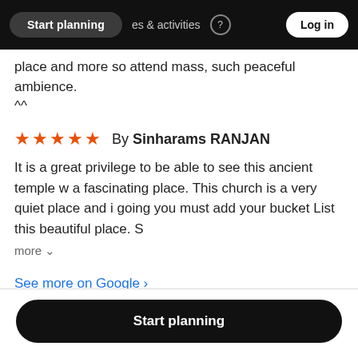Start planning   places & activities   Log in
place and more so attend mass, such peaceful ambience.
^^
★★★★★  By Sinharams RANJAN
It is a great privilege to be able to see this ancient temple w a fascinating place. This church is a very quiet place and i going you must add your bucket List this beautiful place. S
more ∨
See more on Google ›
Start planning